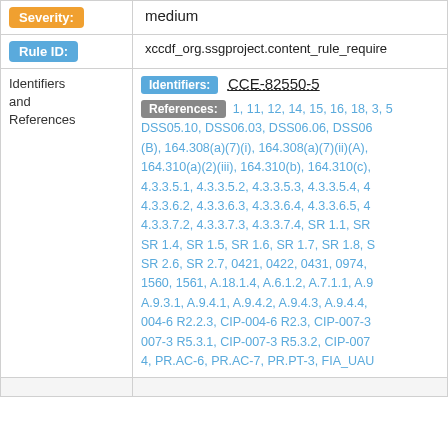| Label | Value |
| --- | --- |
| Severity: | medium |
| Rule ID: | xccdf_org.ssgproject.content_rule_require… |
| Identifiers and References | Identifiers: CCE-82550-5
References: 1, 11, 12, 14, 15, 16, 18, 3, 5… DSS05.10, DSS06.03, DSS06.06, DSS06… (B), 164.308(a)(7)(i), 164.308(a)(7)(ii)(A),… 164.310(a)(2)(iii), 164.310(b), 164.310(c),… 4.3.3.5.1, 4.3.3.5.2, 4.3.3.5.3, 4.3.3.5.4, 4… 4.3.3.6.2, 4.3.3.6.3, 4.3.3.6.4, 4.3.3.6.5, 4… 4.3.3.7.2, 4.3.3.7.3, 4.3.3.7.4, SR 1.1, SR… SR 1.4, SR 1.5, SR 1.6, SR 1.7, SR 1.8, S… SR 2.6, SR 2.7, 0421, 0422, 0431, 0974,… 1560, 1561, A.18.1.4, A.6.1.2, A.7.1.1, A.9… A.9.3.1, A.9.4.1, A.9.4.2, A.9.4.3, A.9.4.4,… 004-6 R2.2.3, CIP-004-6 R2.3, CIP-007-3… 007-3 R5.3.1, CIP-007-3 R5.3.2, CIP-007… 4, PR.AC-6, PR.AC-7, PR.PT-3, FIA_UAU… |